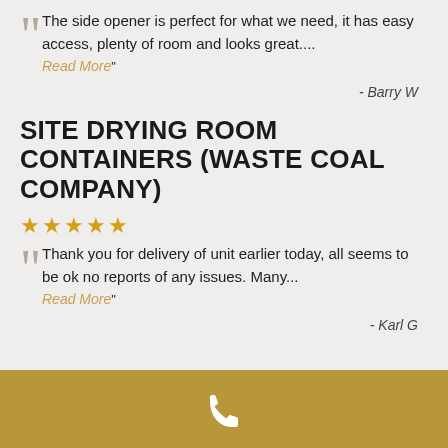The side opener is perfect for what we need, it has easy access, plenty of room and looks great.... Read More"
- Barry W
SITE DRYING ROOM CONTAINERS (WASTE COAL COMPANY)
★★★★★
Thank you for delivery of unit earlier today, all seems to be ok no reports of any issues. Many... Read More"
- Karl G
[Figure (other): Golden/tan footer bar with a white telephone handset icon]